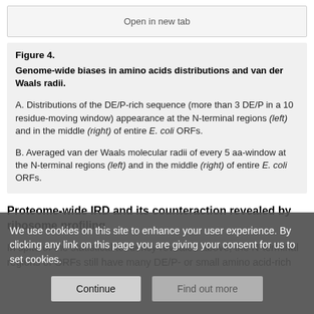[Figure (screenshot): Open in new tab button/box]
Figure 4.
Genome-wide biases in amino acids distributions and van der Waals radii.
A. Distributions of the DE/P-rich sequence (more than 3 DE/P in a 10 residue-moving window) appearance at the N-terminal regions (left) and in the middle (right) of entire E. coli ORFs.
B. Averaged van der Waals molecular radii of every 5 aa-window at the N-terminal regions (left) and in the middle (right) of entire E. coli ORFs.
Proteome-wide IRD and its counteraction revealed by ribosome profiling
In spite of the statistical tendency revealed above, the N-terminal regions of ORFs still have many DE/P- or small amino acid-rich
We use cookies on this site to enhance your user experience. By clicking any link on this page you are giving your consent for us to set cookies.